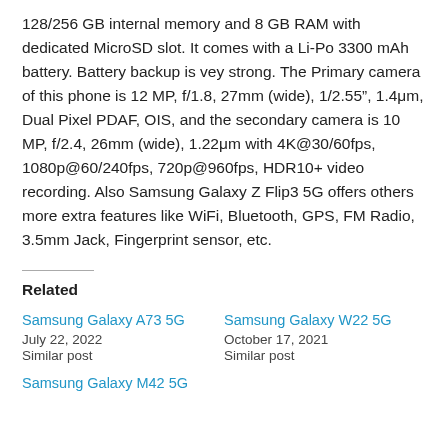128/256 GB internal memory and 8 GB RAM with dedicated MicroSD slot. It comes with a Li-Po 3300 mAh battery. Battery backup is vey strong. The Primary camera of this phone is 12 MP, f/1.8, 27mm (wide), 1/2.55", 1.4μm, Dual Pixel PDAF, OIS, and the secondary camera is 10 MP, f/2.4, 26mm (wide), 1.22μm with 4K@30/60fps, 1080p@60/240fps, 720p@960fps, HDR10+ video recording. Also Samsung Galaxy Z Flip3 5G offers others more extra features like WiFi, Bluetooth, GPS, FM Radio, 3.5mm Jack, Fingerprint sensor, etc.
Related
Samsung Galaxy A73 5G
July 22, 2022
Similar post
Samsung Galaxy W22 5G
October 17, 2021
Similar post
Samsung Galaxy M42 5G